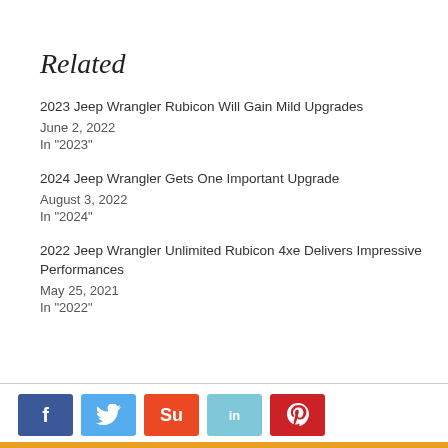Related
2023 Jeep Wrangler Rubicon Will Gain Mild Upgrades
June 2, 2022
In "2023"
2024 Jeep Wrangler Gets One Important Upgrade
August 3, 2022
In "2024"
2022 Jeep Wrangler Unlimited Rubicon 4xe Delivers Impressive Performances
May 25, 2021
In "2022"
[Figure (other): Social share buttons: Facebook (blue), Twitter (light blue), StumbleUpon (orange-red), LinkedIn (light blue), Pinterest (red)]